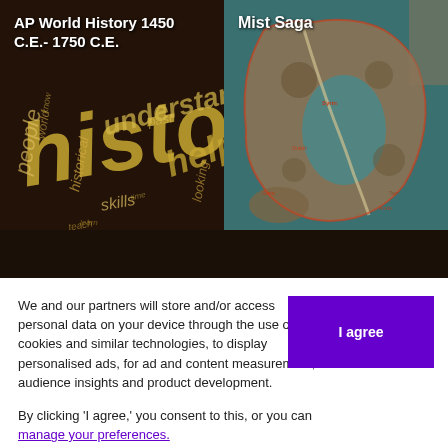[Figure (photo): Left panel: dark background with word cloud showing history-related words (history, people, historical, skills, understand, helps, looking, past, etc.) in gold and white tones. White bold text overlay reads 'AP World History 1450 C.E.- 1750 C.E.']
[Figure (map): Right panel: fantasy or historical illustrated map with teal/brown tones showing landmasses, rivers, and labeled locations. White bold text overlay reads 'Mist Saga']
We and our partners will store and/or access personal data on your device through the use of cookies and similar technologies, to display personalised ads, for ad and content measurement, audience insights and product development.

By clicking 'I agree,' you consent to this, or you can manage your preferences.